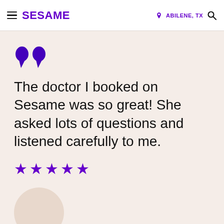SESAME  ABILENE, TX
[Figure (other): Large purple opening quotation marks decorative element]
The doctor I booked on Sesame was so great! She asked lots of questions and listened carefully to me.
★★★★★
[Figure (other): Round avatar placeholder circle in beige/tan color]
Andrea